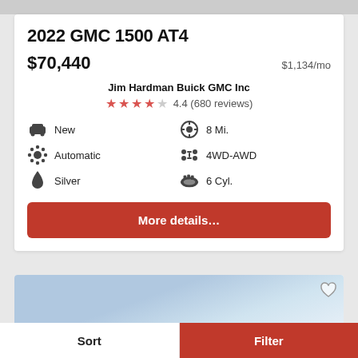2022 GMC 1500 AT4
$70,440  $1,134/mo
Jim Hardman Buick GMC Inc
4.4 (680 reviews)
New
8 Mi.
Automatic
4WD-AWD
Silver
6 Cyl.
More details...
[Figure (photo): Partial car listing photo showing sky and vehicle]
Sort
Filter